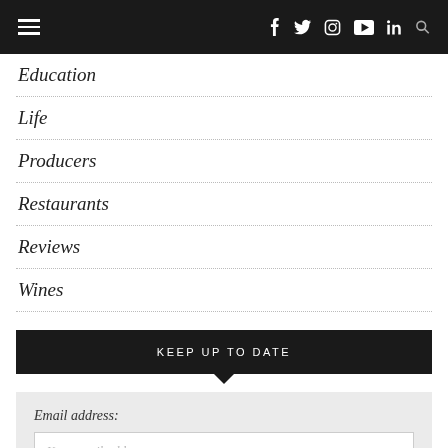Navigation bar with hamburger menu and social icons: f, twitter, instagram, youtube, in, search
Education
Life
Producers
Restaurants
Reviews
Wines
KEEP UP TO DATE
Email address:
Your email address